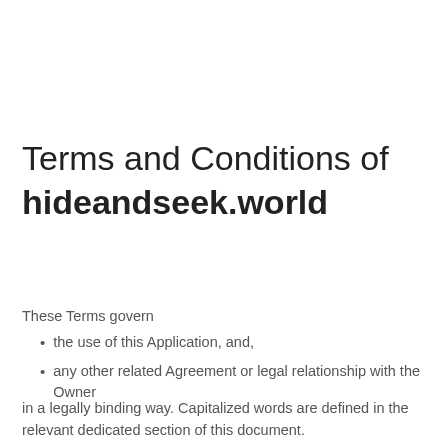Terms and Conditions of hideandseek.world
These Terms govern
the use of this Application, and,
any other related Agreement or legal relationship with the Owner
in a legally binding way. Capitalized words are defined in the relevant dedicated section of this document.